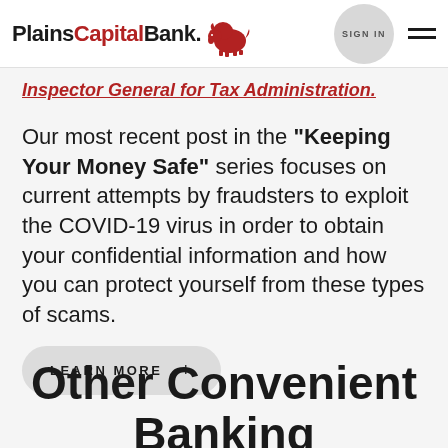PlainsCapital Bank. SIGN IN
Inspector General for Tax Administration.
Our most recent post in the “Keeping Your Money Safe” series focuses on current attempts by fraudsters to exploit the COVID-19 virus in order to obtain your confidential information and how you can protect yourself from these types of scams.
LEARN MORE +
Other Convenient Banking Options